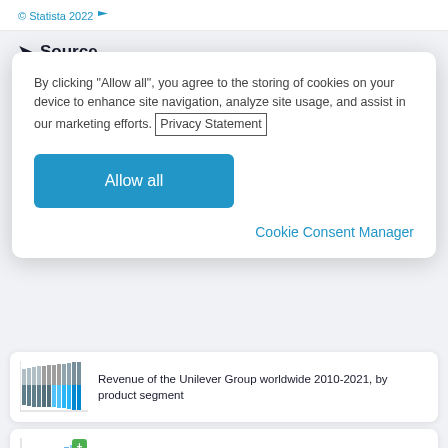© Statista 2022
Source
By clicking "Allow all", you agree to the storing of cookies on your device to enhance site navigation, analyze site usage, and assist in our marketing efforts. Privacy Statement
Allow all
Cookie Consent Manager
[Figure (bar-chart): Small thumbnail of a stacked bar chart showing Unilever Group revenue by product segment 2010-2021]
Revenue of the Unilever Group worldwide 2010-2021, by product segment
[Figure (stacked-bar-chart): Small thumbnail of a stacked bar chart showing Procter & Gamble net sales by business segment 2014-2022 with green plus badge]
Procter & Gamble's net sales worldwide 2014-2022, by business segment